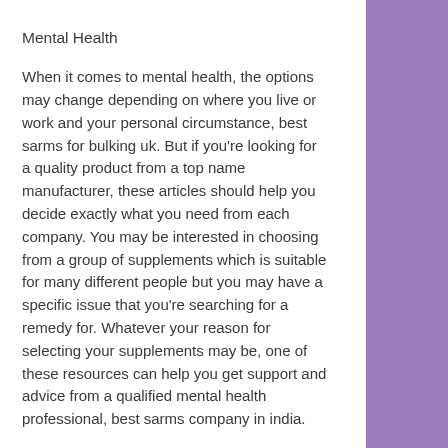Mental Health
When it comes to mental health, the options may change depending on where you live or work and your personal circumstance, best sarms for bulking uk. But if you're looking for a quality product from a top name manufacturer, these articles should help you decide exactly what you need from each company. You may be interested in choosing from a group of supplements which is suitable for many different people but you may have a specific issue that you're searching for a remedy for. Whatever your reason for selecting your supplements may be, one of these resources can help you get support and advice from a qualified mental health professional, best sarms company in india.